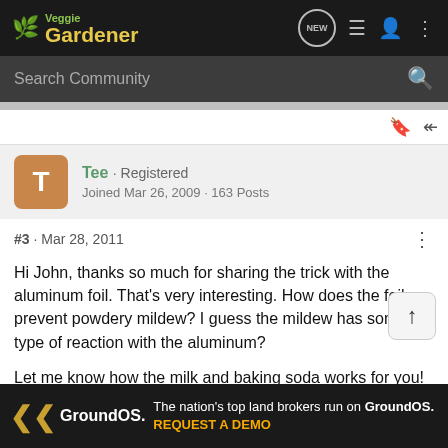Veggie Gardener — navigation bar with NEW, list, user, and menu icons
Search Community
Tee · Registered
Joined Mar 26, 2009 · 163 Posts
#3 · Mar 28, 2011
Hi John, thanks so much for sharing the trick with the aluminum foil. That's very interesting. How does the foil prevent powdery mildew? I guess the mildew has some type of reaction with the aluminum?

Let me know how the milk and baking soda works for you! It does wo… w here.
[Figure (screenshot): GroundOS advertisement banner: 'The nation's top land brokers run on GroundOS. REQUEST A DEMO']